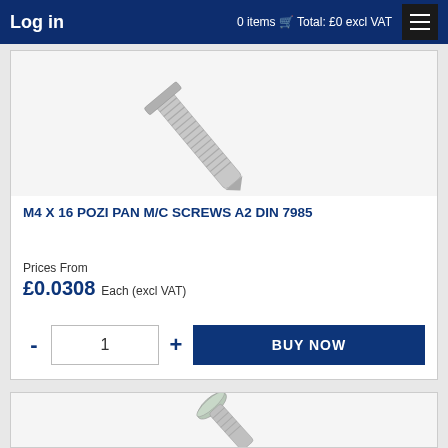Log in   0 items  Total: £0 excl VAT
[Figure (photo): Close-up photo of an M4 x 16 Pozi Pan Machine Screw A2 stainless steel, showing the threaded shaft at a diagonal angle against a white background]
M4 X 16 POZI PAN M/C SCREWS A2 DIN 7985
Prices From
£0.0308 Each (excl VAT)
- 1 +  BUY NOW
[Figure (photo): Partial view of a second screw product showing a pan head machine screw at a diagonal angle]